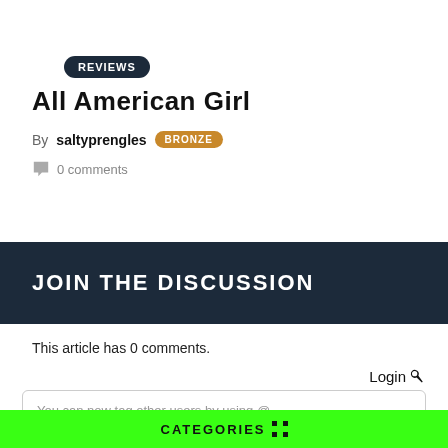REVIEWS
All American Girl
By saltyprengles BRONZE
0 comments
JOIN THE DISCUSSION
This article has 0 comments.
Login
You can now tag other users by using @.
CATEGORIES